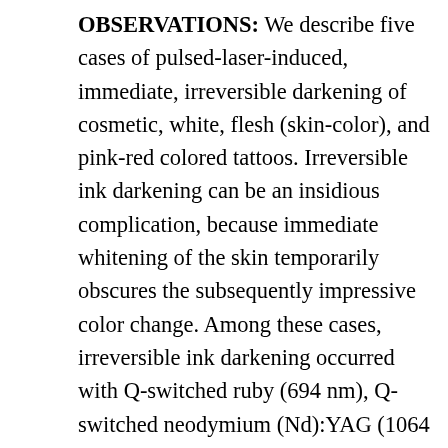OBSERVATIONS: We describe five cases of pulsed-laser-induced, immediate, irreversible darkening of cosmetic, white, flesh (skin-color), and pink-red colored tattoos. Irreversible ink darkening can be an insidious complication, because immediate whitening of the skin temporarily obscures the subsequently impressive color change. Among these cases, irreversible ink darkening occurred with Q-switched ruby (694 nm), Q-switched neodymium (Nd):YAG (1064 nm/532 nm), and pulsed green dye (510 nm) lasers. Attempts to remove the darkened ink with further laser treatment failed in two cases, and surgical excision was necessary. In the other three cases, subsequent laser treatments successfully